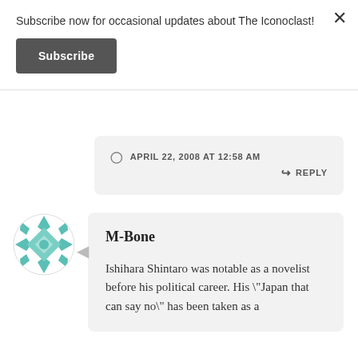Subscribe now for occasional updates about The Iconoclast!
Subscribe
APRIL 22, 2008 AT 12:58 AM
REPLY
[Figure (illustration): Teal/green geometric snowflake-style avatar icon with diamond and triangle shapes arranged symmetrically]
M-Bone
Ishihara Shintaro was notable as a novelist before his political career. His \"Japan that can say no\" has been taken as a